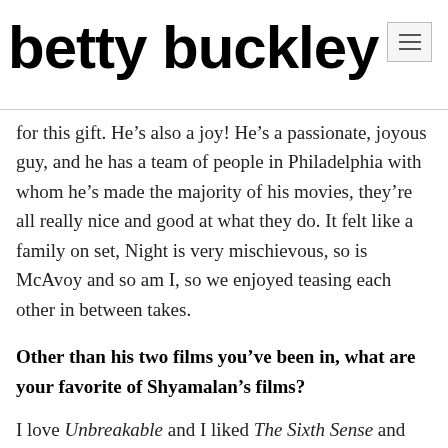betty buckley
for this gift. He’s also a joy! He’s a passionate, joyous guy, and he has a team of people in Philadelphia with whom he’s made the majority of his movies, they’re all really nice and good at what they do. It felt like a family on set, Night is very mischievous, so is McAvoy and so am I, so we enjoyed teasing each other in between takes.
Other than his two films you’ve been in, what are your favorite of Shyamalan’s films?
I love Unbreakable and I liked The Sixth Sense and Signs. I like them all. I loved The Visit last